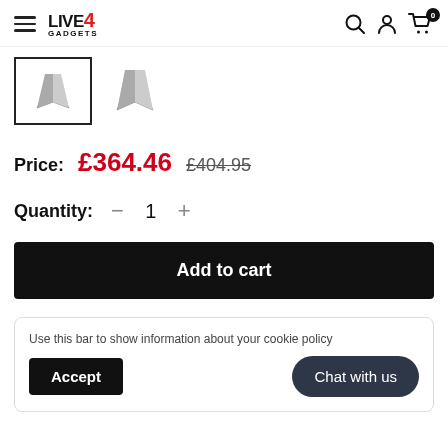LIVE GADGETS 4
[Figure (photo): Two product thumbnail images of a speaker/stand. The first is selected (bordered), the second is unselected.]
Price: £364.46 £404.95
Quantity: - 1 +
Add to cart
Use this bar to show information about your cookie policy
Accept
Chat with us